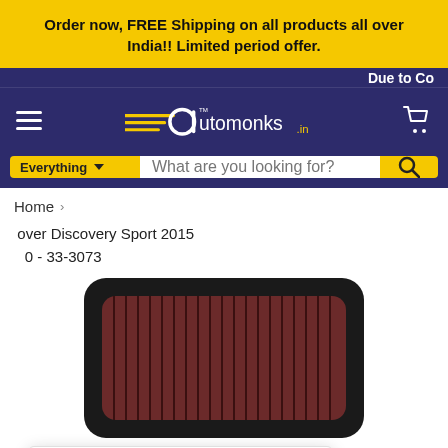Order now, FREE Shipping on all products all over India!! Limited period offer.
[Figure (logo): Automonks.in logo with yellow speedlines and shopping cart icon on dark purple navigation bar]
Due to Co
Everything  What are you looking for?
Home > [Land Rover Discovery Sport 2015] O - 33-3073
Click here to search by VIN/Chassis
[Figure (photo): K&N or similar aftermarket air filter panel with black frame and red/brown pleated cotton gauze filter media]